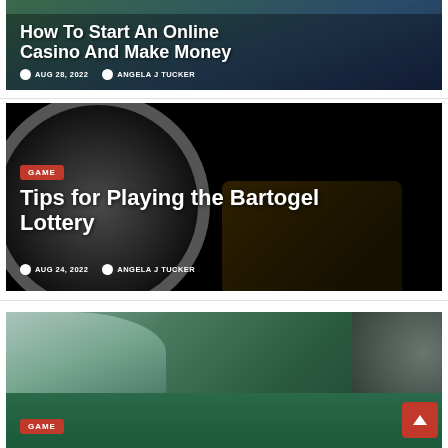[Figure (photo): Casino table with dark background, partial view showing the top card with title overlay]
How To Start An Online Casino And Make Money
AUG 28, 2022  ANGELA J TUCKER
[Figure (photo): Roulette wheel on dark/black background with chips, showing GAME tag and article title]
Tips for Playing the Bartogel Lottery
AUG 24, 2022  ANGELA J TUCKER
[Figure (photo): Casino roulette table with people playing, green felt surface with chips, showing GAME tag at bottom]